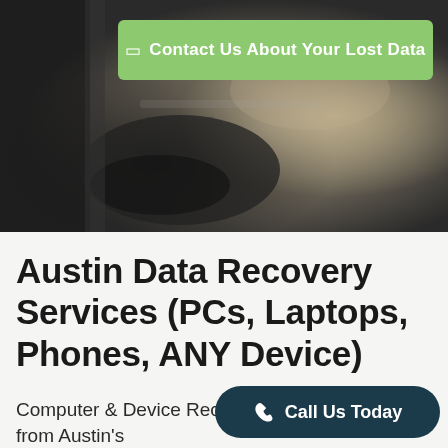[Figure (photo): Blurred background photo of office/tech equipment, dark tones with warm highlights]
Contact Us About Your Lost Data
Austin Data Recovery Services (PCs, Laptops, Phones, ANY Device)
Computer & Device Recovery Services from Austin's Leading Data Recovery Experts
Call Us Today